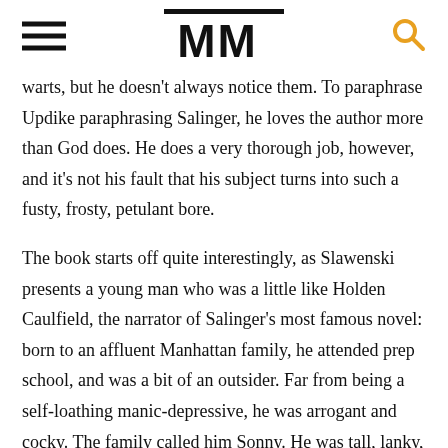MM
warts, but he doesn't always notice them. To paraphrase Updike paraphrasing Salinger, he loves the author more than God does. He does a very thorough job, however, and it's not his fault that his subject turns into such a fusty, frosty, petulant bore.
The book starts off quite interestingly, as Slawenski presents a young man who was a little like Holden Caulfield, the narrator of Salinger's most famous novel: born to an affluent Manhattan family, he attended prep school, and was a bit of an outsider. Far from being a self-loathing manic-depressive, he was arrogant and cocky. The family called him Sonny. He was tall, lanky, affable enough to serve on the entertainment staff of a